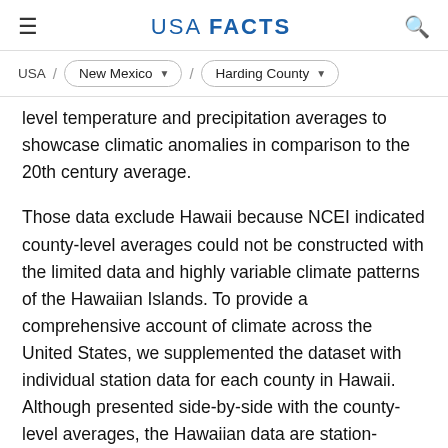USA FACTS
USA / New Mexico / Harding County
level temperature and precipitation averages to showcase climatic anomalies in comparison to the 20th century average.
Those data exclude Hawaii because NCEI indicated county-level averages could not be constructed with the limited data and highly variable climate patterns of the Hawaiian Islands. To provide a comprehensive account of climate across the United States, we supplemented the dataset with individual station data for each county in Hawaii. Although presented side-by-side with the county-level averages, the Hawaiian data are station-specific averages and should not be